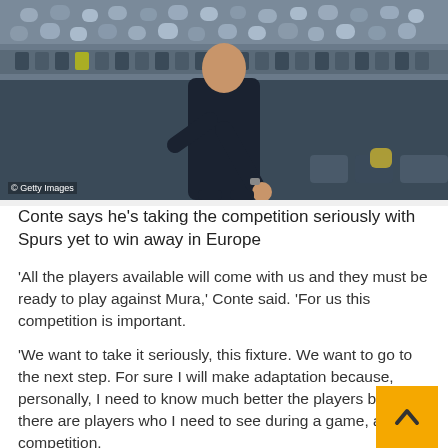[Figure (photo): A football manager in a dark suit pointing with one finger on the touchline, crowd visible in background. Getty Images watermark bottom left.]
Conte says he’s taking the competition seriously with Spurs yet to win away in Europe
‘All the players available will come with us and they must be ready to play against Mura,’ Conte said. ‘For us this competition is important.
‘We want to take it seriously, this fixture. We want to go to the next step. For sure I will make adaptation because, personally, I need to know much better the players because there are players who I need to see during a game, a competition.
Kane will travel with the team, after meeting with Italy great Alessandro Del Piero. A friend of Conte’s, he visited the